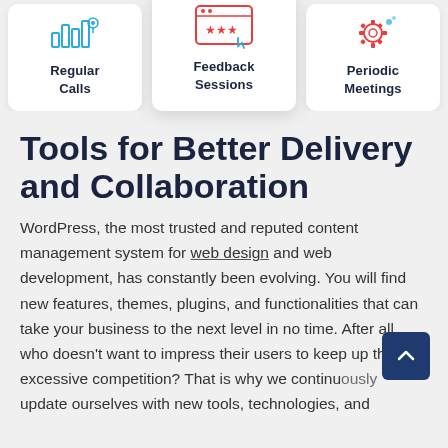[Figure (illustration): Three cards with icons: Regular Calls (bar chart icon, blue), Feedback Sessions (star/rating icon, center featured card), Periodic Meetings (settings/gear icon, red/blue)]
Tools for Better Delivery and Collaboration
WordPress, the most trusted and reputed content management system for web design and web development, has constantly been evolving. You will find new features, themes, plugins, and functionalities that can take your business to the next level in no time. After all, who doesn't want to impress their users to keep up this excessive competition? That is why we continuously update ourselves with new tools, technologies, and